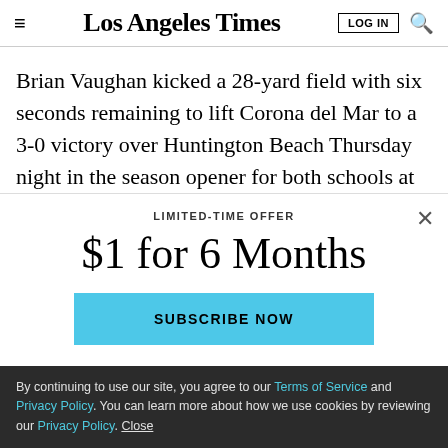Los Angeles Times
Brian Vaughan kicked a 28-yard field with six seconds remaining to lift Corona del Mar to a 3-0 victory over Huntington Beach Thursday night in the season opener for both schools at Newport Harbor High School.
LIMITED-TIME OFFER
$1 for 6 Months
SUBSCRIBE NOW
By continuing to use our site, you agree to our Terms of Service and Privacy Policy. You can learn more about how we use cookies by reviewing our Privacy Policy. Close